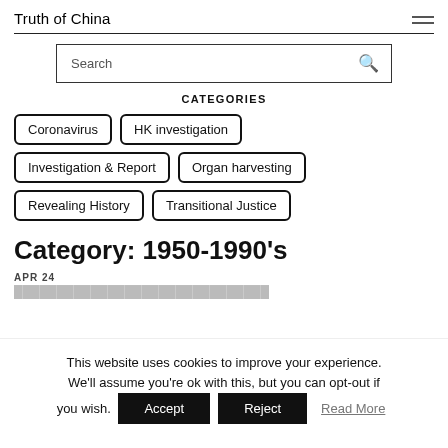Truth of China
Search
CATEGORIES
Coronavirus
HK investigation
Investigation & Report
Organ harvesting
Revealing History
Transitional Justice
Category: 1950-1990's
APR 24
This website uses cookies to improve your experience. We'll assume you're ok with this, but you can opt-out if you wish.
Accept  Reject  Read More